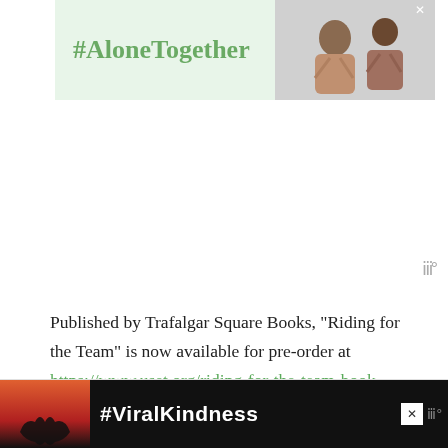[Figure (other): #AloneTogether advertisement banner with green background text and photo of man and child waving]
Published by Trafalgar Square Books, “Riding for the Team” is now available for pre-order at https://www.uset.org/riding-for-the-team-book-sale/. The 302-page hardback volume will be a treasured part of any horseman’s library, and proceeds from the sale of “Riding for the Team” will help support athletes representing the United States of America.
[Figure (other): #ViralKindness advertisement banner with dark background, heart hands silhouette against sunset, and text #ViralKindness]